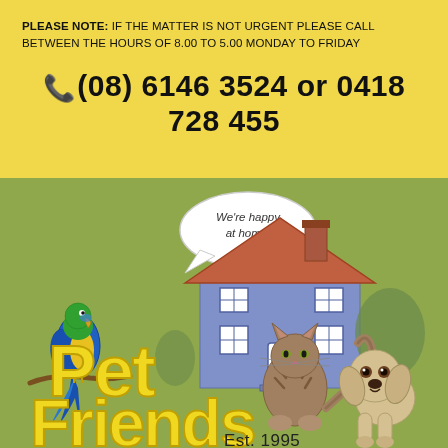PLEASE NOTE: IF THE MATTER IS NOT URGENT PLEASE CALL BETWEEN THE HOURS OF 8.00 TO 5.00 MONDAY TO FRIDAY
(08) 6146 3524 or 0418 728 455
[Figure (logo): Pet Friends logo with parrot, cat, puppy, house illustration and 'We're happy at home!' speech bubble. Text reads 'Pet Friends Est. 1995' in yellow lettering.]